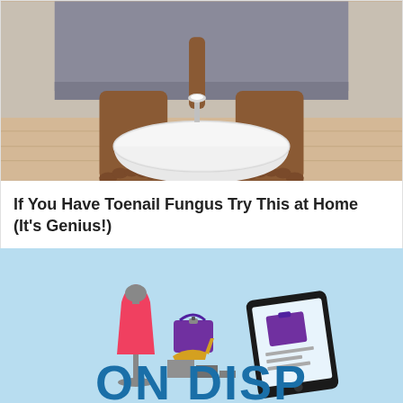[Figure (photo): Person sitting with bare feet beside a large white bowl, holding a spoon with white powder over the bowl — a foot soak scene on a wooden floor]
If You Have Toenail Fungus Try This at Home (It's Genius!)
wellnessguide101.com
Learn More >
[Figure (illustration): Light blue background banner with illustrated fashion items: a red dress on a mannequin, a purple handbag, gold high-heel shoes, grey platform/boxes, and a smartphone showing a purple bag on screen. Large bold blue text at bottom reads 'ON DISPLAY']